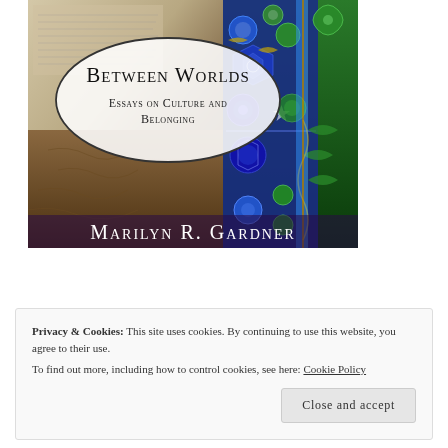[Figure (illustration): Book cover of 'Between Worlds: Essays on Culture and Belonging' by Marilyn R. Gardner. Features decorative Islamic tile patterns in blue and green on the right, aged manuscript text and earthy tones on the left, with a white oval containing the title and subtitle in the center, and the author name in white at the bottom.]
Privacy & Cookies: This site uses cookies. By continuing to use this website, you agree to their use.
To find out more, including how to control cookies, see here: Cookie Policy
Close and accept